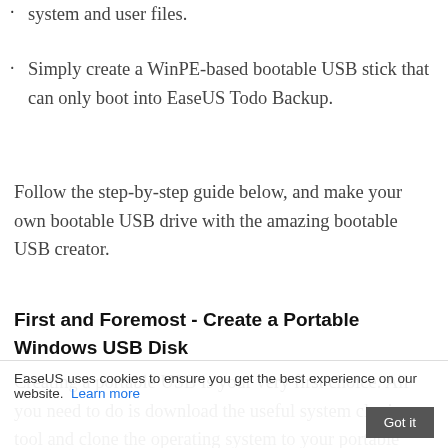system and user files.
Simply create a WinPE-based bootable USB stick that can only boot into EaseUS Todo Backup.
Follow the step-by-step guide below, and make your own bootable USB drive with the amazing bootable USB creator.
First and Foremost - Create a Portable Windows USB Disk
Creating a portable USB is your very first choice. All you need to do is download the useful system cloning tool and clone the operating system to your portable device.
EaseUS uses cookies to ensure you get the best experience on our website. Learn more Got it